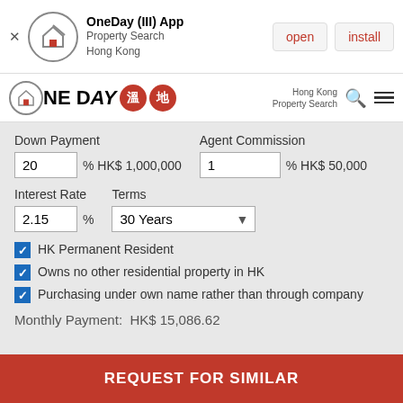[Figure (screenshot): App install banner for OneDay (III) App - Property Search Hong Kong with open and install buttons]
[Figure (logo): OneDay property search Hong Kong navigation bar logo with red circle icons and hamburger menu]
Down Payment
20 % HK$ 1,000,000
Agent Commission
1 % HK$ 50,000
Interest Rate
2.15 %
Terms
30 Years
HK Permanent Resident
Owns no other residential property in HK
Purchasing under own name rather than through company
Monthly Payment:  HK$ 15,086.62
REQUEST FOR SIMILAR